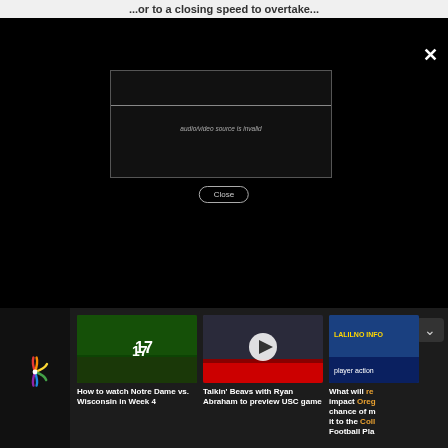...or to a closing speed to overtake...
[Figure (screenshot): Modal overlay on black background with a video player showing 'audio/video source is invalid' error message, and a Close button]
audio/video source is invalid
Close
[Figure (photo): Notre Dame football players on field]
How to watch Notre Dame vs. Wisconsin in Week 4
[Figure (photo): Talkin Beavs video thumbnail with play button]
Talkin' Beavs with Ryan Abraham to preview USC game
[Figure (photo): Oregon football game photo]
What will re impact Oreg chance of m it to the Coll Football Pla